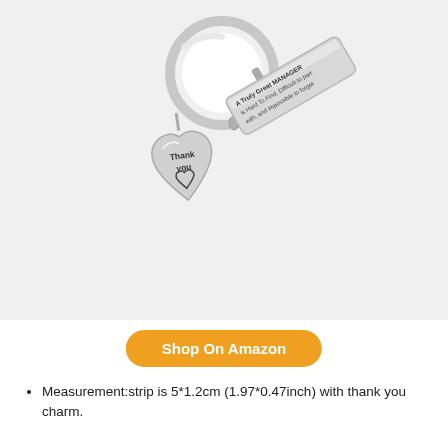[Figure (photo): A silver stainless steel keychain with a rectangular bar engraved with 'A Truly Great MANAGER is Hard To Find, Difficult to part with, and impossible to forget', and a heart-shaped charm engraved with 'Thank you' and a heart outline, attached to a silver key ring.]
Shop On Amazon
Measurement:strip is 5*1.2cm (1.97*0.47inch) with thank you charm.